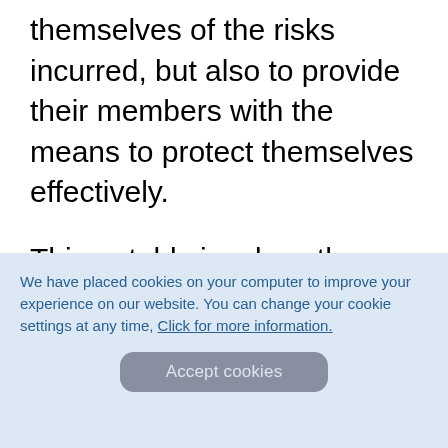themselves of the risks incurred, but also to provide their members with the means to protect themselves effectively.
This notably involves the proposal of moderation tools allowing players to set deposit and / or wagering limits
We have placed cookies on your computer to improve your experience on our website. You can change your cookie settings at any time, Click for more information.
Accept cookies